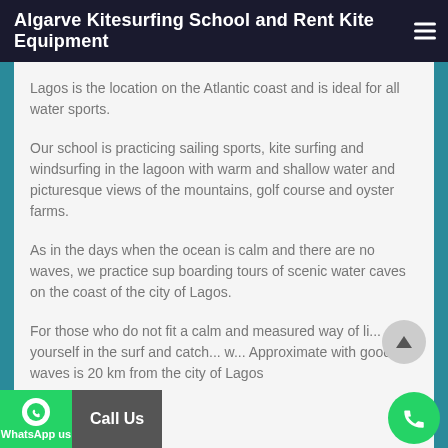Algarve Kitesurfing School and Rent Kite Equipment
Lagos is the location on the Atlantic coast and is ideal for all water sports.
Our school is practicing sailing sports, kite surfing and windsurfing in the lagoon with warm and shallow water and picturesque views of the mountains, golf course and oyster farms.
As in the days when the ocean is calm and there are no waves, we practice sup boarding tours of scenic water caves on the coast of the city of Lagos.
For those who do not fit a calm and measured way of li... yourself in the surf and catch... w... Approximate with good waves is 20 km from the city of Lagos